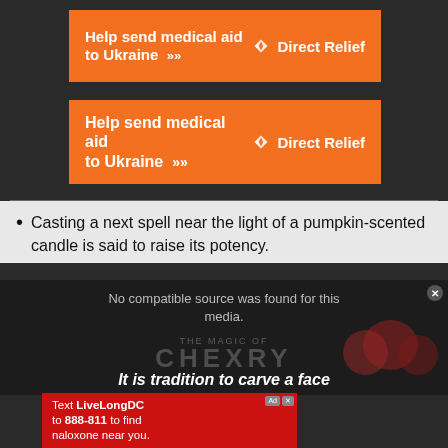[Figure (screenshot): Orange Direct Relief advertisement banner: 'Help send medical aid to Ukraine >>' with Direct Relief logo, first instance]
[Figure (screenshot): Orange Direct Relief advertisement banner: 'Help send medical aid to Ukraine >>' with Direct Relief logo, second instance]
Casting a next spell near the light of a pumpkin-scented candle is said to raise its potency.
[Figure (screenshot): Video player showing 'No compatible source was found for this media.' with overlaid 'THE MAGIC OF CHEXRY' text and 'It is tradition to carve a face' text at bottom]
[Figure (screenshot): Red advertisement for LiveLongDC: 'Text LiveLongDC to 888-811 to find naloxone near you.' with Live Long DC, DBH and DC Government logos]